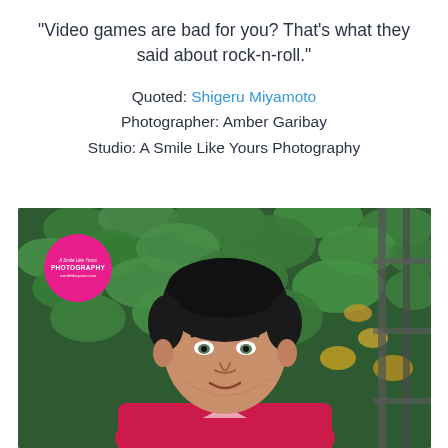“Video games are bad for you? That’s what they said about rock-n-roll.”
Quoted: Shigeru Miyamoto
Photographer: Amber Garibay
Studio: A Smile Like Yours Photography
[Figure (photo): Young man with short dark hair wearing a red t-shirt, smiling slightly, seated in front of a lush green ivy-covered wall with a metal railing. A pink circular watermark logo for 'A Smile Like Yours Photography' is visible in the upper left of the photo.]